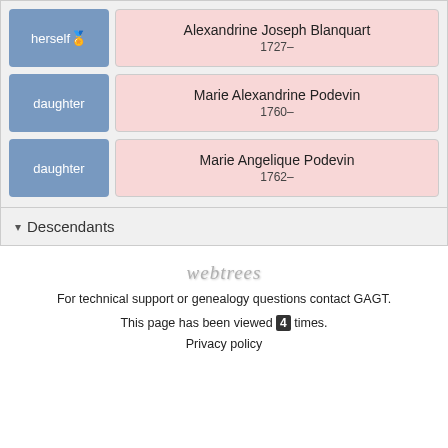| Relation | Name | Years |
| --- | --- | --- |
| herself 🏅 | Alexandrine Joseph Blanquart | 1727– |
| daughter | Marie Alexandrine Podevin | 1760– |
| daughter | Marie Angelique Podevin | 1762– |
▾ Descendants
[Figure (logo): webtrees logo in gray italic text]
For technical support or genealogy questions contact GAGT.
This page has been viewed 4 times.
Privacy policy